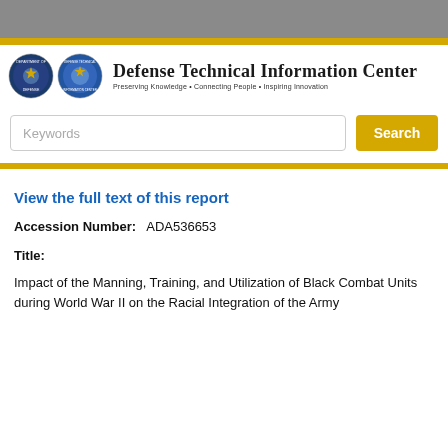[Figure (logo): Defense Technical Information Center header with DoD and DTIC seals, organization name and tagline]
Keywords
Search
View the full text of this report
Accession Number:   ADA536653
Title:
Impact of the Manning, Training, and Utilization of Black Combat Units during World War II on the Racial Integration of the Army